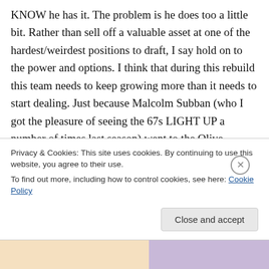KNOW he has it. The problem is he does too a little bit. Rather than sell off a valuable asset at one of the hardest/weirdest positions to draft, I say hold on to the power and options. I think that during this rebuild this team needs to keep growing more than it needs to start dealing. Just because Malcolm Subban (who I got the pleasure of seeing the 67s LIGHT UP a number of times last season) went to the Olive Garden with Pierre Dorion and the Sens are "definitely" drafting a goalie at some point this year (as they
Privacy & Cookies: This site uses cookies. By continuing to use this website, you agree to their use.
To find out more, including how to control cookies, see here: Cookie Policy
Close and accept